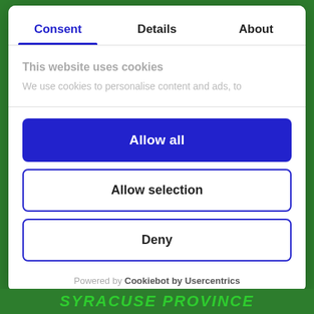Consent | Details | About
This website uses cookies
We use cookies to personalise content and ads, to
Allow all
Allow selection
Deny
Powered by Cookiebot by Usercentrics
SYRACUSE PROVINCE